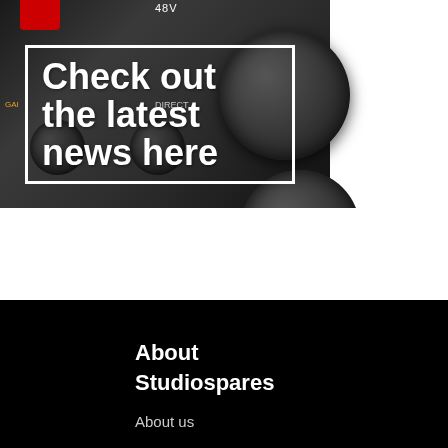[Figure (photo): Audio interface/mixer close-up photo showing knobs, controls, red cable, with a white-bordered text overlay reading 'Check out the latest news here' in large bold white text]
Check out the latest news here
About Studiospares
About us